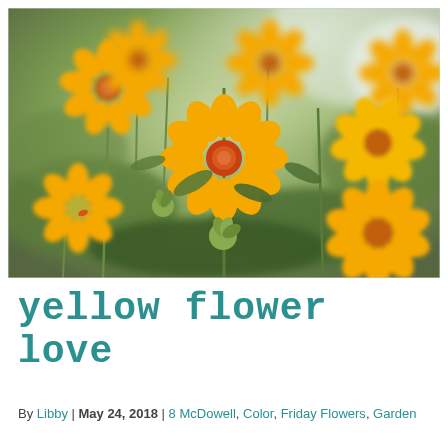[Figure (photo): Photograph of yellow-orange daisy-like flowers (zinnia/helenium) with green foliage in the background, shot with shallow depth of field]
YELLOW FLOWER LOVE
By Libby | May 24, 2018 | 8 McDowell, Color, Friday Flowers, Garden